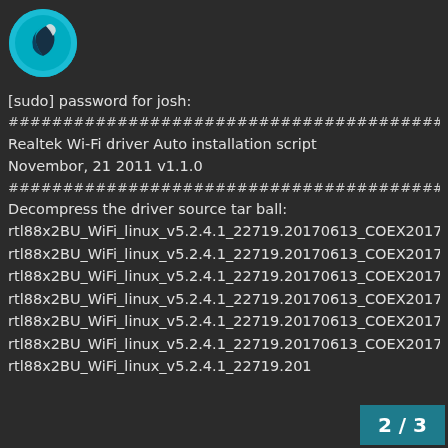[Figure (logo): Kali Linux logo - circular icon with white bird/dragon on teal/cyan background]
[sudo] password for josh:
################################################################
Realtek Wi-Fi driver Auto installation script
Novembor, 21 2011 v1.1.0
################################################################
Decompress the driver source tar ball:
rtl88x2BU_WiFi_linux_v5.2.4.1_22719.20170613_COEX20170518-4444.tar.gz
rtl88x2BU_WiFi_linux_v5.2.4.1_22719.20170613_COEX20170518-4444/
rtl88x2BU_WiFi_linux_v5.2.4.1_22719.20170613_COEX20170518-4444/platform/
rtl88x2BU_WiFi_linux_v5.2.4.1_22719.20170613_COEX20170518-4444/platform/platform_ops.h
rtl88x2BU_WiFi_linux_v5.2.4.1_22719.20170613_COEX20170518-4444/platform/platform_ARM_SUNxI_usb.c
rtl88x2BU_WiFi_linux_v5.2.4.1_22719.20170613_COEX20170518-4444/platform/platform_ARM_WMT_sd
rtl88x2BU_WiFi_linux_v5.2.4.1_22719.201
2 / 3